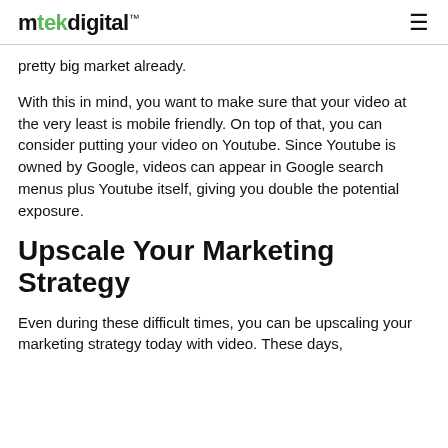mtekdigital™
pretty big market already.
With this in mind, you want to make sure that your video at the very least is mobile friendly. On top of that, you can consider putting your video on Youtube. Since Youtube is owned by Google, videos can appear in Google search menus plus Youtube itself, giving you double the potential exposure.
Upscale Your Marketing Strategy
Even during these difficult times, you can be upscaling your marketing strategy today with video. These days,